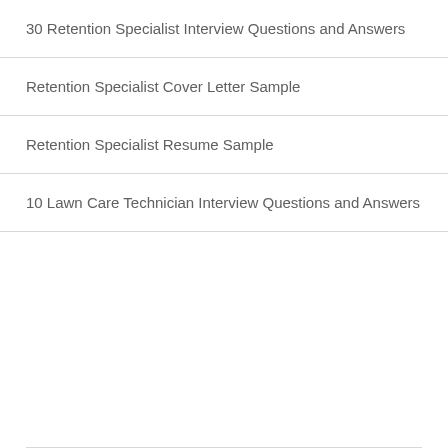30 Retention Specialist Interview Questions and Answers
Retention Specialist Cover Letter Sample
Retention Specialist Resume Sample
10 Lawn Care Technician Interview Questions and Answers